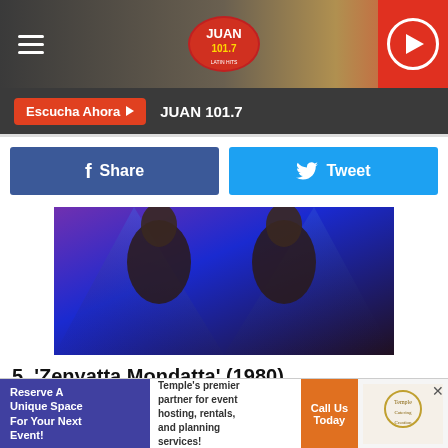JUAN 101.7 — top navigation bar with hamburger menu, logo, and play button
Escucha Ahora ▶  JUAN 101.7
[Figure (other): Facebook Share button (blue) and Twitter Tweet button (light blue) side by side]
[Figure (photo): Zenyatta Mondatta album cover — two faces with blue/purple lighting, gold italic text reading ZENYATTA MONDATTA]
5. 'Zenyatta Mondatta' (1980)
The band's first Top 10 album is also its most conservative. The bridge between the spunky early years and the later, more artsy ones, 'Zenyatta Mondatta' includes some of the Police's best-known songs, like "Don't Stand So Close to
[Figure (other): Advertisement banner: Reserve A Unique Space For Your Next Event! / Temple's premier partner for event hosting, rentals, and planning services! / Call Us Today button / Temple Catering Creation logo]